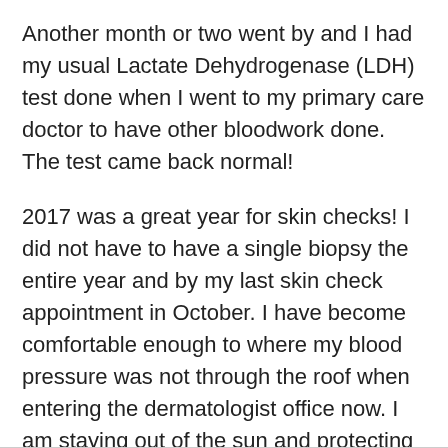Another month or two went by and I had my usual Lactate Dehydrogenase (LDH) test done when I went to my primary care doctor to have other bloodwork done. The test came back normal!
2017 was a great year for skin checks! I did not have to have a single biopsy the entire year and by my last skin check appointment in October. I have become comfortable enough to where my blood pressure was not through the roof when entering the dermatologist office now. I am staying out of the sun and protecting my skin if I am out in the sun. I hope and pray that 2018 will be just as good if not better.